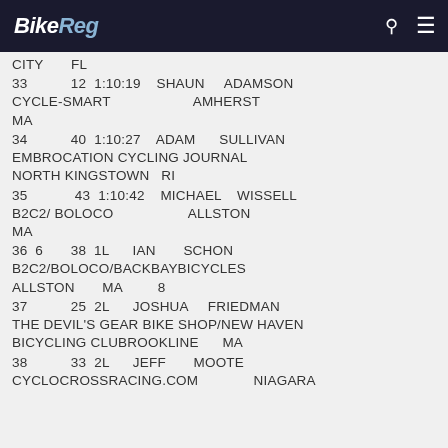BikeReg
CITY   FL
33   12  1:10:19   SHAUN   ADAMSON  CYCLE-SMART   AMHERST  MA
34   40  1:10:27   ADAM   SULLIVAN  EMBROCATION CYCLING JOURNAL  NORTH KINGSTOWN   RI
35   43  1:10:42   MICHAEL   WISSELL  B2C2/ BOLOCO   ALLSTON  MA
36  6   38  1L   IAN   SCHON  B2C2/BOLOCO/BACKBAYBICYCLES  ALLSTON   MA   8
37   25  2L   JOSHUA   FRIEDMAN  THE DEVIL'S GEAR BIKE SHOP/NEW HAVEN BICYCLING CLUBROOKLINE   MA
38   33  2L   JEFF   MOOTE  CYCLOCROSSRACING.COM   NIAGARA